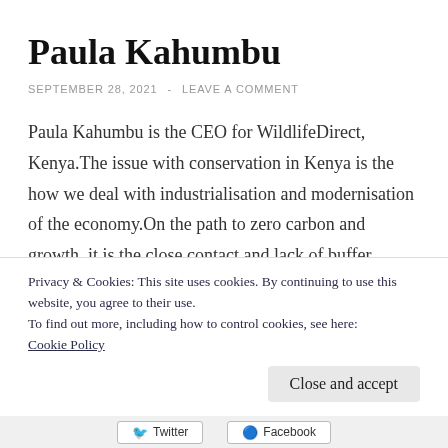Paula Kahumbu
SEPTEMBER 28, 2021 - LEAVE A COMMENT
Paula Kahumbu is the CEO for WildlifeDirect, Kenya.The issue with conservation in Kenya is the how we deal with industrialisation and modernisation of the economy.On the path to zero carbon and growth, it is the close contact and lack of buffer between animals and humans
Privacy & Cookies: This site uses cookies. By continuing to use this website, you agree to their use.
To find out more, including how to control cookies, see here: Cookie Policy
Close and accept